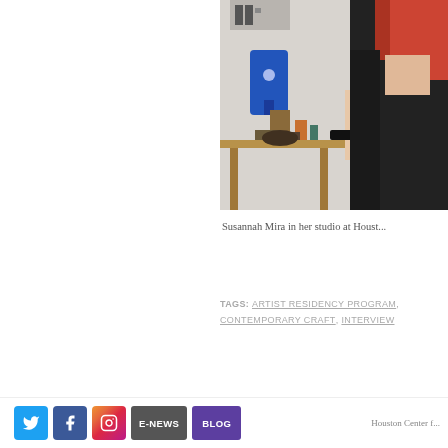[Figure (photo): Susannah Mira working in her studio at Houston Center for Contemporary Craft, showing tools and supplies on a wooden workbench, blue appliance visible, person in black top with red hair]
Susannah Mira in her studio at Houst...
TAGS: ARTIST RESIDENCY PROGRAM, CONTEMPORARY CRAFT, INTERVIEW
Twitter | Facebook | Instagram | E-NEWS | BLOG | Houston Center f...